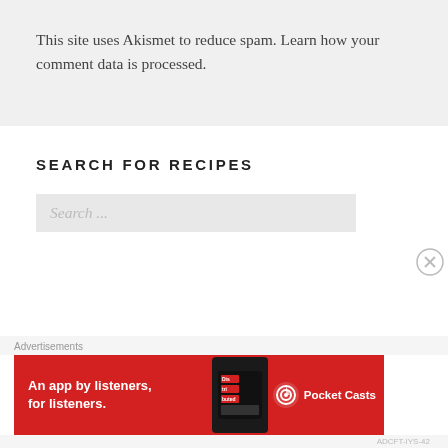This site uses Akismet to reduce spam. Learn how your comment data is processed.
SEARCH FOR RECIPES
Search ...
Advertisements
[Figure (other): Pocket Casts advertisement banner: An app by listeners, for listeners. Red background with phone image and Pocket Casts logo.]